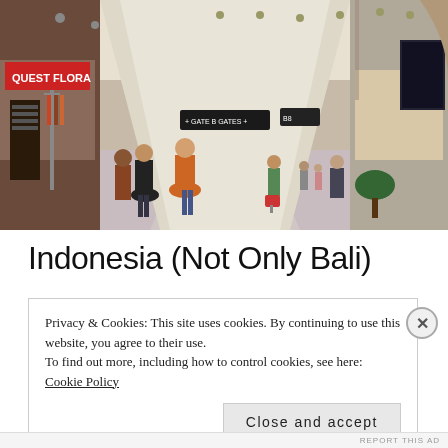[Figure (photo): Interior of a busy airport terminal corridor. People with luggage walking in both directions. Shops visible on the left including one with red signage. Signs hanging from ceiling. Reflective floor. Bright, well-lit space.]
Indonesia (Not Only Bali)
Privacy & Cookies: This site uses cookies. By continuing to use this website, you agree to their use.
To find out more, including how to control cookies, see here: Cookie Policy
Close and accept
REPORT THIS AD